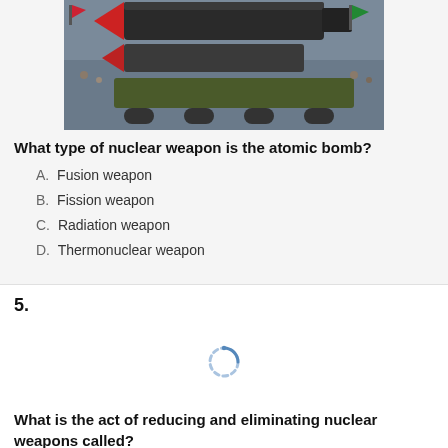[Figure (photo): Photograph of missiles on transport vehicles at what appears to be a military parade, with a large crowd in the background.]
What type of nuclear weapon is the atomic bomb?
A. Fusion weapon
B. Fission weapon
C. Radiation weapon
D. Thermonuclear weapon
5.
[Figure (other): Loading spinner icon (circular dashed loading indicator)]
What is the act of reducing and eliminating nuclear weapons called?